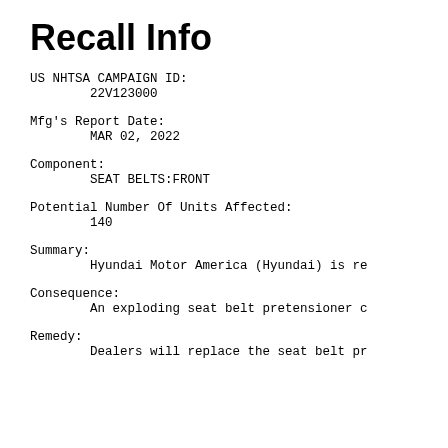Recall Info
US NHTSA CAMPAIGN ID:
        22V123000
Mfg's Report Date:
        MAR 02, 2022
Component:
        SEAT BELTS:FRONT
Potential Number Of Units Affected:
        140
Summary:
        Hyundai Motor America (Hyundai) is re
Consequence:
        An exploding seat belt pretensioner c
Remedy:
        Dealers will replace the seat belt pr